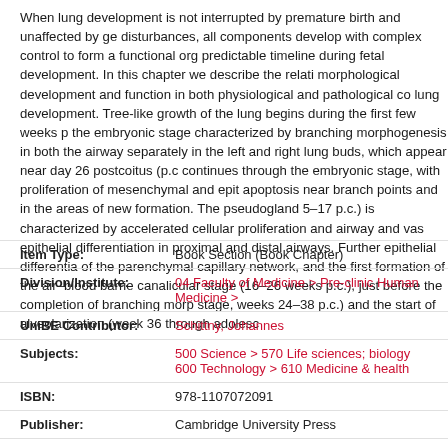When lung development is not interrupted by premature birth and unaffected by ge disturbances, all components develop with complex control to form a functional org predictable timeline during fetal development. In this chapter we describe the relati morphological development and function in both physiological and pathological co lung development. Tree-like growth of the lung begins during the first few weeks p the embryonic stage characterized by branching morphogenesis in both the airway separately in the left and right lung buds, which appear near day 26 postcoitus (p.c continues through the embryonic stage, with proliferation of mesenchymal and epit apoptosis near branch points and in the areas of new formation. The pseudogland 5–17 p.c.) is characterized by accelerated cellular proliferation and airway and vas epithelial differentiation in proximal and distal airways. Further epithelial differentia of the parenchymal capillary network, and the first formation of the air–blood barrie canalicular stage (16–26 weeks p.c.), just before the completion of branching morp stage, weeks 24–38 p.c.) and the start of alveolarization (week 36 through adolesc
| Field | Value |
| --- | --- |
| Item Type: | Book Section (Book Chapter) |
| Division/Institute: | 04 Faculty of Medicine > Pre-clinic Human Medicine > |
| UniBE Contributor: | Schittny, Johannes |
| Subjects: | 500 Science > 570 Life sciences; biology
600 Technology > 610 Medicine & health |
| ISBN: | 978-1107072091 |
| Publisher: | Cambridge University Press |
| Language: | English |
| Submitter: | Johannes Schittny |